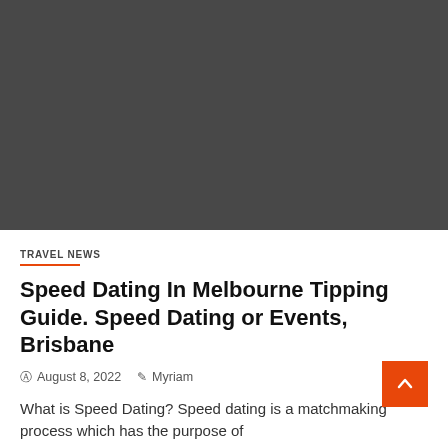[Figure (photo): Dark gray hero image placeholder at the top of the article page]
TRAVEL NEWS
Speed Dating In Melbourne Tipping Guide. Speed Dating or Events, Brisbane
August 8, 2022   Myriam
What is Speed Dating? Speed dating is a matchmaking process which has the purpose of